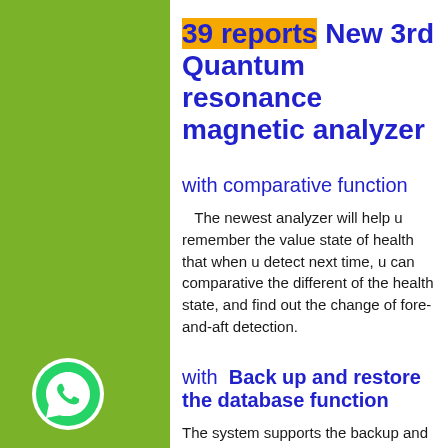39 reports New 3rd Quantum resonance magnetic analyzer
with comparative function
The newest analyzer will help u remember the value state of health that when u detect next time, u can comparative the different of the health state, and find out the change of fore-and-aft detection.
with  Back up and restore the database function
The system supports the backup and restoring of the existing database,so that the complete data can be reserved to reduce the loss when the computer has problems or is invaded by viruses.